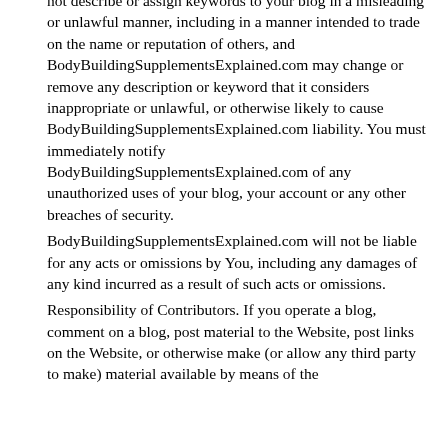not describe or assign keywords to your blog in a misleading or unlawful manner, including in a manner intended to trade on the name or reputation of others, and BodyBuildingSupplementsExplained.com may change or remove any description or keyword that it considers inappropriate or unlawful, or otherwise likely to cause BodyBuildingSupplementsExplained.com liability. You must immediately notify BodyBuildingSupplementsExplained.com of any unauthorized uses of your blog, your account or any other breaches of security.
BodyBuildingSupplementsExplained.com will not be liable for any acts or omissions by You, including any damages of any kind incurred as a result of such acts or omissions.
Responsibility of Contributors. If you operate a blog, comment on a blog, post material to the Website, post links on the Website, or otherwise make (or allow any third party to make) material available by means of the Website, ("contribute"), You are entirely responsible for